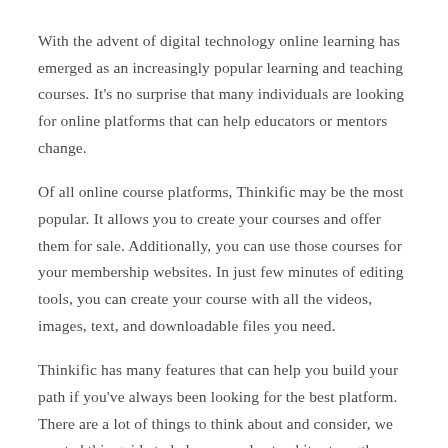With the advent of digital technology online learning has emerged as an increasingly popular learning and teaching courses. It's no surprise that many individuals are looking for online platforms that can help educators or mentors change.
Of all online course platforms, Thinkific may be the most popular. It allows you to create your courses and offer them for sale. Additionally, you can use those courses for your membership websites. In just few minutes of editing tools, you can create your course with all the videos, images, text, and downloadable files you need.
Thinkific has many features that can help you build your path if you've always been looking for the best platform. There are a lot of things to think about and consider, we created this guide to help you understand its strengths, drawbacks and advantages.
Although we do need to warn you that this is a very long post. If